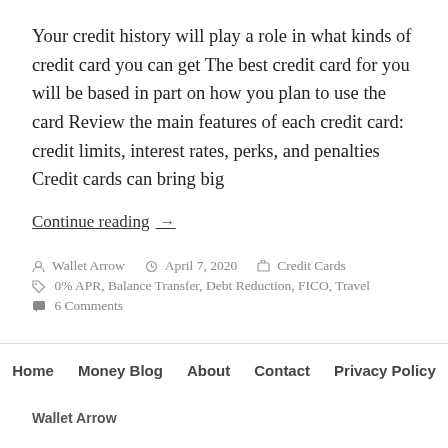Your credit history will play a role in what kinds of credit card you can get The best credit card for you will be based in part on how you plan to use the card Review the main features of each credit card: credit limits, interest rates, perks, and penalties Credit cards can bring big
Continue reading →
Wallet Arrow   April 7, 2020   Credit Cards
0% APR, Balance Transfer, Debt Reduction, FICO, Travel
6 Comments
Home   Money Blog   About   Contact   Privacy Policy
Wallet Arrow